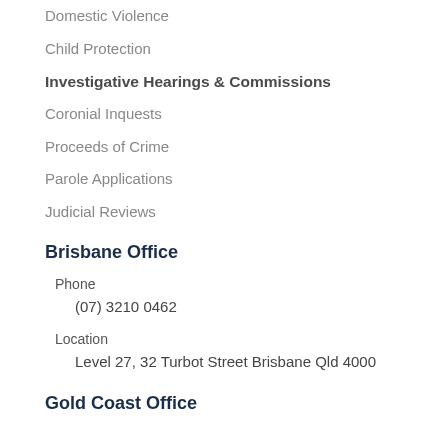Domestic Violence
Child Protection
Investigative Hearings & Commissions
Coronial Inquests
Proceeds of Crime
Parole Applications
Judicial Reviews
Brisbane Office
Phone
(07) 3210 0462
Location
Level 27, 32 Turbot Street Brisbane Qld 4000
Gold Coast Office